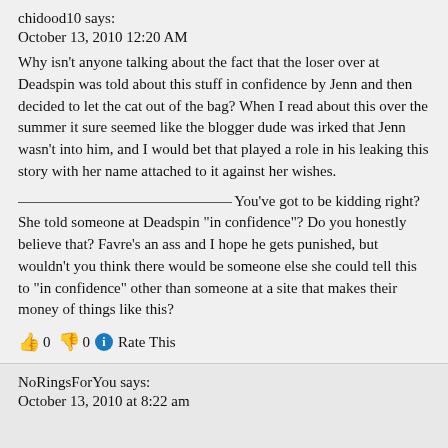chidood10 says:
October 13, 2010 12:20 AM
Why isn't anyone talking about the fact that the loser over at Deadspin was told about this stuff in confidence by Jenn and then decided to let the cat out of the bag? When I read about this over the summer it sure seemed like the blogger dude was irked that Jenn wasn't into him, and I would bet that played a role in his leaking this story with her name attached to it against her wishes.
—You've got to be kidding right? She told someone at Deadspin "in confidence"? Do you honestly believe that? Favre's an ass and I hope he gets punished, but wouldn't you think there would be someone else she could tell this to "in confidence" other than someone at a site that makes their money of things like this?
👍 0 👎 0 ℹ Rate This
NoRingsForYou says:
October 13, 2010 at 8:22 am